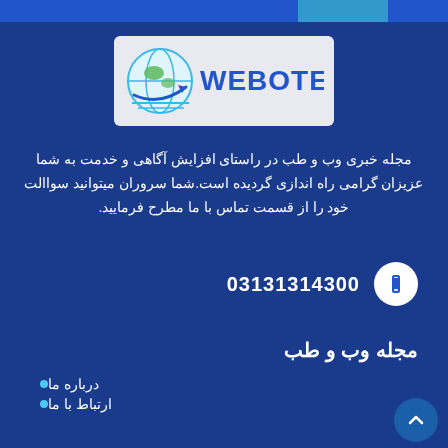[Figure (logo): WEBOTEB logo with globe icon on light background]
مجله خبری وب و طب در راستای افزایش آگاهی و خدمت به شما عزیزان گرامی راه اندازی گردیده است.شما سروران میتوانید سواالت خود را از قسمت تماس با ما مطرح فرمایید.
03131314300
مجله وب و طب
درباره ما
ارتباط با ما